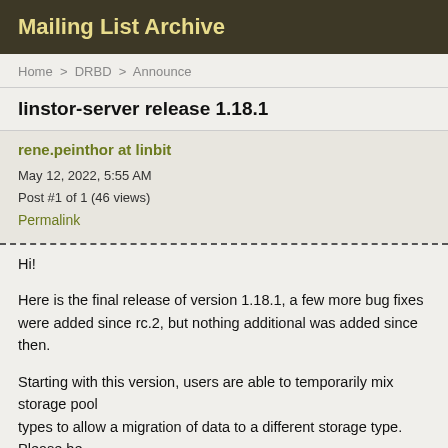Mailing List Archive
Home > DRBD > Announce
linstor-server release 1.18.1
rene.peinthor at linbit
May 12, 2022, 5:55 AM
Post #1 of 1 (46 views)
Permalink
Hi!
Here is the final release of version 1.18.1, a few more bug fixes were added since rc.2, but nothing additional was added since then.
Starting with this version, users are able to temporarily mix storage pool
types to allow a migration of data to a different storage type. Please be
aware that mixing storage types can lead to various problems, and